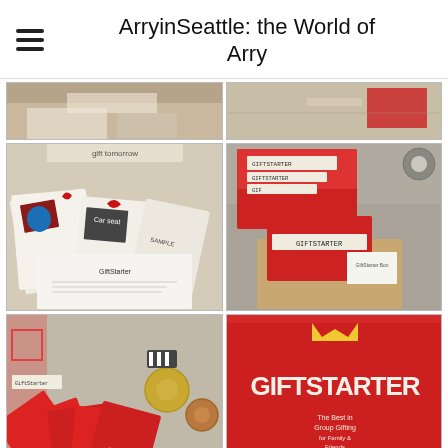ArryinSeattle: the World of Arry
[Figure (photo): Partial cropped photo on left showing a table with papers and items]
[Figure (photo): Partial cropped photo on right showing red and white striped tape on a surface]
[Figure (photo): Photo of GiftStarter gift items laid out: printed gift cards with red ribbons showing a Fitbit, camera, car seat, and other items with text 'gift tomorrow']
[Figure (photo): Photo of GiftStarter box open with red envelope, tags reading 'GIFTSTARTER', and a brown kraft box]
[Figure (photo): Photo of multiple red GiftStarter envelopes fanned out on a surface with washi tape rolls]
[Figure (photo): Photo of a red GiftStarter box/mailer with 'GIFTSTARTER' printed on it and washi tape decoration]